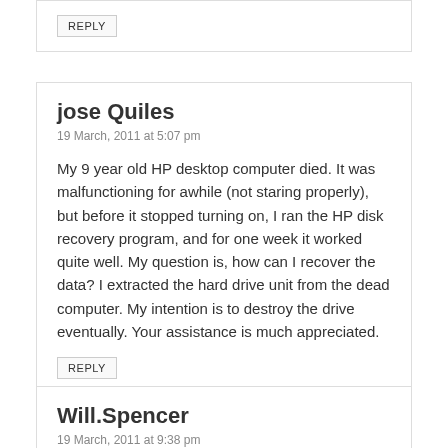REPLY
jose Quiles
19 March, 2011 at 5:07 pm
My 9 year old HP desktop computer died. It was malfunctioning for awhile (not staring properly), but before it stopped turning on, I ran the HP disk recovery program, and for one week it worked quite well. My question is, how can I recover the data? I extracted the hard drive unit from the dead computer. My intention is to destroy the drive eventually. Your assistance is much appreciated.
REPLY
Will.Spencer
19 March, 2011 at 9:38 pm